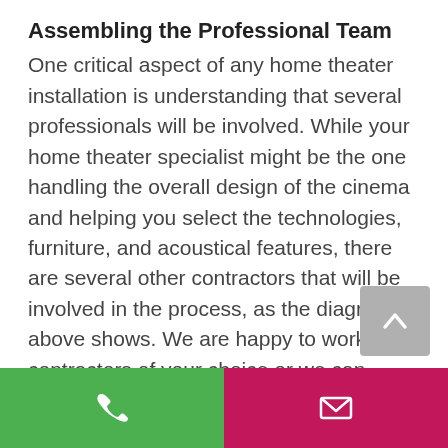Assembling the Professional Team
One critical aspect of any home theater installation is understanding that several professionals will be involved. While your home theater specialist might be the one handling the overall design of the cinema and helping you select the technologies, furniture, and acoustical features, there are several other contractors that will be involved in the process, as the diagram above shows. We are happy to work with contractors of your choice or we can assemble a group ourselves.  Since we started building home theaters in 2006, we
[Figure (other): Scroll-to-top button with upward chevron arrow on gray background]
[Figure (other): Footer bar with green phone icon button on left and pink/magenta email envelope icon button on right]